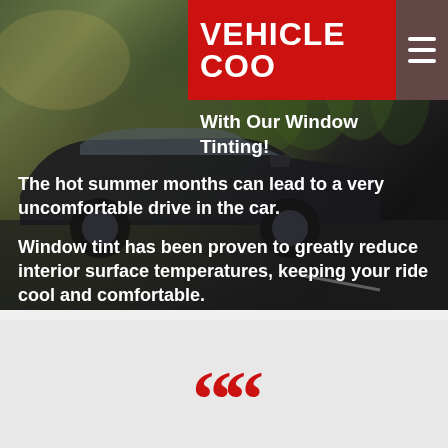[Figure (photo): Automotive window tinting promotional banner showing a dark car on a road with trees in background, overlaid with promotional text. Red header bar at top right reads 'KEEP YOUR VEHICLE COOL' with a hamburger menu icon.]
VEHICLE COO
With Our Window Tinting!
The hot summer months can lead to a very uncomfortable drive in the car.
Window tint has been proven to greatly reduce interior surface temperatures, keeping your ride cool and comfortable.
[Figure (illustration): Large red opening quotation marks on a light gray background, indicating a testimonial or quote section below.]